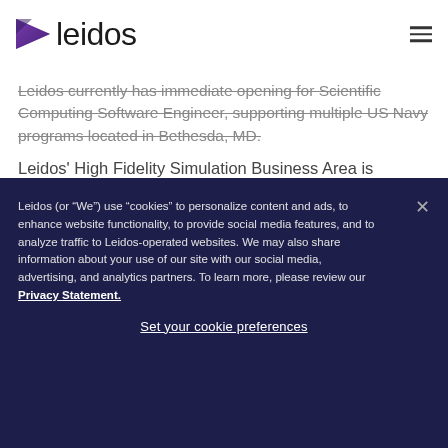[Figure (logo): Leidos logo: purple triangle/arrow pointing right followed by the word 'leidos' in dark grey sans-serif text]
Leidos currently has immediate opening for Scientific Computing Software Engineer, supporting multiple US Navy programs located in Bethesda, MD.
Leidos' High Fidelity Simulation Business Area is responsible for architecting and implementing large-scale System of Systems solutions in support of world...
Leidos (or “We”) use “cookies” to personalize content and ads, to enhance website functionality, to provide social media features, and to analyze traffic to Leidos-operated websites. We may also share information about your use of our site with our social media, advertising, and analytics partners. To learn more, please review our Privacy Statement.
Set your cookie preferences